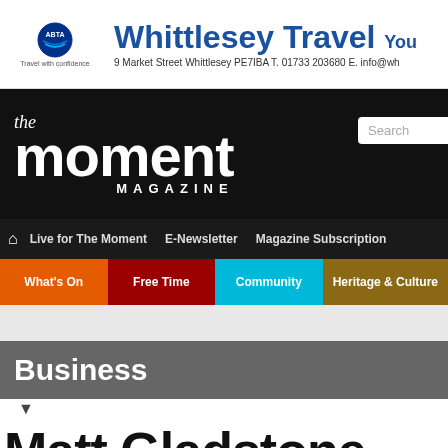[Figure (other): Whittlesey Travel advertisement banner with ABTA logo, blue bold title text 'Whittlesey Travel', and address '9 Market Street Whittlesey PE7IBA T. 01733 203680 E. info@wh...']
[Figure (logo): The Moment Magazine header logo on black background with search box]
Live for The Moment  E-Newsletter  Magazine Subscription
What's On  Free Time  Community  Heritage & Culture
Business
Matt Gladstone